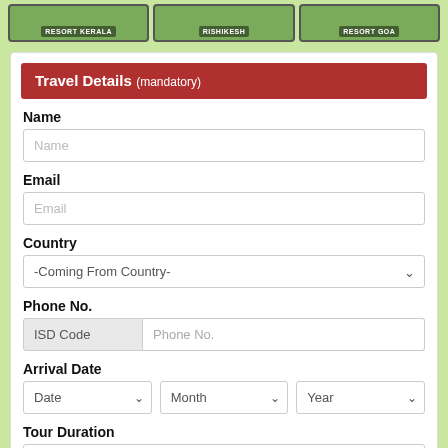[Figure (photo): Three resort card thumbnails at top: Resort Kerala, Rishikesh, Resort Goa with green/nature imagery]
Travel Details (mandatory)
Name
Name (input placeholder)
Email
Email (input placeholder)
Country
-Coming From Country- (dropdown)
Phone No.
ISD Code | Phone No. (inputs)
Arrival Date
Date | Month | Year (dropdowns)
Tour Duration
Days (dropdown)
No. of Person(s)